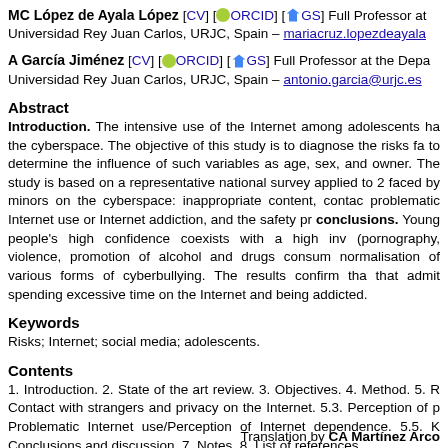MC López de Ayala López [CV] [ORCID] [GS] Full Professor at Universidad Rey Juan Carlos, URJC, Spain – mariacruz.lopezdeayala...
A García Jiménez [CV] [ORCID] [GS] Full Professor at the Department, Universidad Rey Juan Carlos, URJC, Spain – antonio.garcia@urjc.es
Abstract
Introduction. The intensive use of the Internet among adolescents ha... the cyberspace. The objective of this study is to diagnose the risks fa... to determine the influence of such variables as age, sex, and owner... The study is based on a representative national survey applied to 2... faced by minors on the cyberspace: inappropriate content, contac... problematic Internet use or Internet addiction, and the safety pr... conclusions. Young people's high confidence coexists with a high inv... (pornography, violence, promotion of alcohol and drugs consum... normalisation of various forms of cyberbullying. The results confirm tha... that admit spending excessive time on the Internet and being addicted...
Keywords
Risks; Internet; social media; adolescents.
Contents
1. Introduction. 2. State of the art review. 3. Objectives. 4. Method. 5. R... Contact with strangers and privacy on the Internet. 5.3. Perception of p... Problematic Internet use/Perception of Internet dependence. 5.5. K... Conclusions and discussion. 7. Notes. 8. List of references.
Translation by CA Martínez Arco...